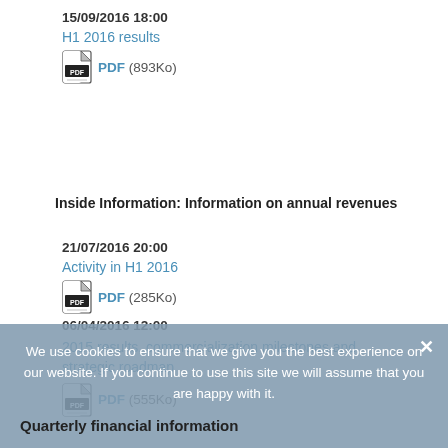15/09/2016 18:00
H1 2016 results
PDF (893Ko)
Inside Information: Information on annual revenues
21/07/2016 20:00
Activity in H1 2016
PDF (285Ko)
06/04/2016 12:00
2015 results, commercialization milestones and strategic roadmap
PDF (555Ko)
We use cookies to ensure that we give you the best experience on our website. If you continue to use this site we will assume that you are happy with it.
Quarterly financial information